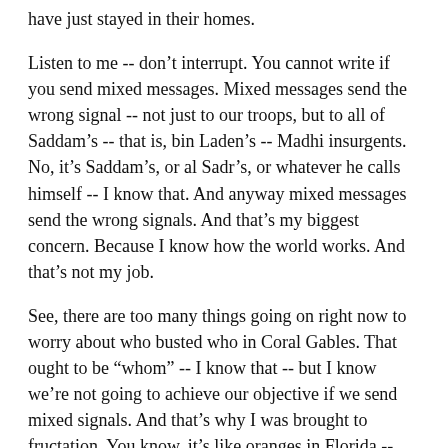have just stayed in their homes.
Listen to me -- don't interrupt. You cannot write if you send mixed messages. Mixed messages send the wrong signal -- not just to our troops, but to all of Saddam's -- that is, bin Laden's -- Madhi insurgents. No, it's Saddam's, or al Sadr's, or whatever he calls himself -- I know that. And anyway mixed messages send the wrong signals. And that's my biggest concern. Because I know how the world works. And that's not my job.
See, there are too many things going on right now to worry about who busted who in Coral Gables. That ought to be “whom” -- I know that -- but I know we're not going to achieve our objective if we send mixed signals. And that's why I was brought to fructation. You know, it's like oranges in Florida -- they just hang on the tree until, you know, they fall off.